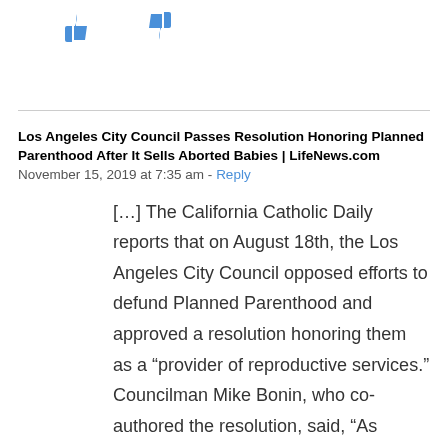[Figure (other): Thumbs up and thumbs down icons in blue]
Los Angeles City Council Passes Resolution Honoring Planned Parenthood After It Sells Aborted Babies | LifeNews.com  November 15, 2019 at 7:35 am - Reply
[…] The California Catholic Daily reports that on August 18th, the Los Angeles City Council opposed efforts to defund Planned Parenthood and approved a resolution honoring them as a “provider of reproductive services.” Councilman Mike Bonin, who co-authored the resolution, said, “As national political candidates shamelessly threaten important health care services for families, we thought it was important to show a strong